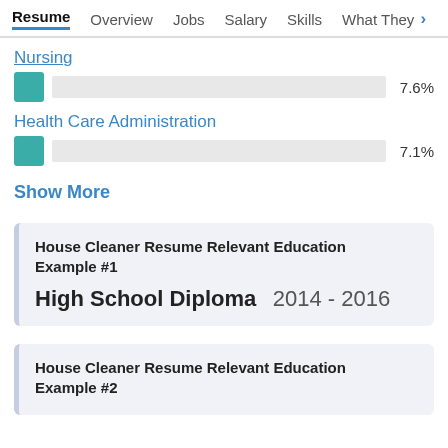Resume | Overview | Jobs | Salary | Skills | What They >
Nursing 7.6%
Health Care Administration 7.1%
Show More
House Cleaner Resume Relevant Education Example #1
High School Diploma  2014 - 2016
House Cleaner Resume Relevant Education Example #2